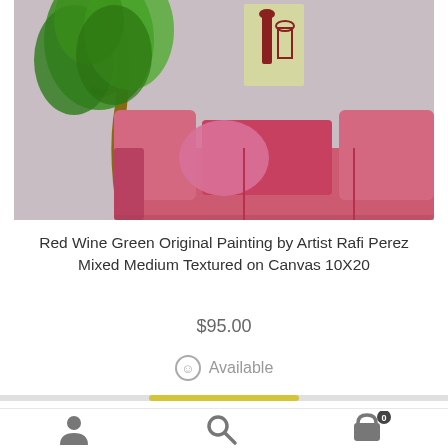[Figure (photo): Product photo showing a red/pink sofa in a room setting with a green leafy tree to the left, a wall art painting of wine bottle and glass on the wall above, and light gray wall background.]
Red Wine Green Original Painting by Artist Rafi Perez Mixed Medium Textured on Canvas 10X20
$95.00
Available